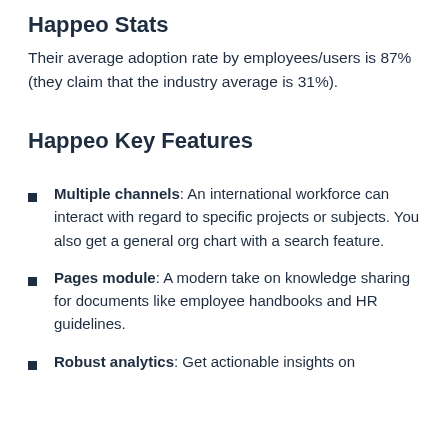Happeo Stats
Their average adoption rate by employees/users is 87% (they claim that the industry average is 31%).
Happeo Key Features
Multiple channels: An international workforce can interact with regard to specific projects or subjects. You also get a general org chart with a search feature.
Pages module: A modern take on knowledge sharing for documents like employee handbooks and HR guidelines.
Robust analytics: Get actionable insights on